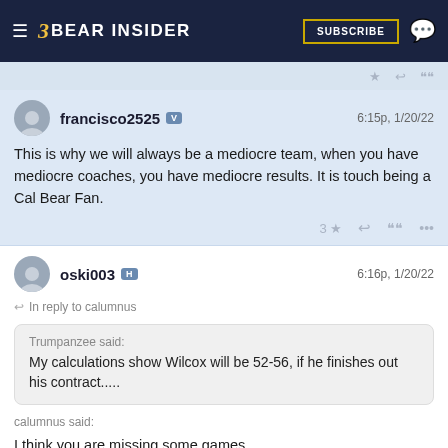Bear Insider — SUBSCRIBE
francisco2525 v   6:15p, 1/20/22
This is why we will always be a mediocre team, when you have mediocre coaches, you have mediocre results. It is touch being a Cal Bear Fan.
3 ★
oski003 H   6:16p, 1/20/22
In reply to calumnus
Trumpanzee said: My calculations show Wilcox will be 52-56, if he finishes out his contract.....
calumnus said:
I think you are missing some games.